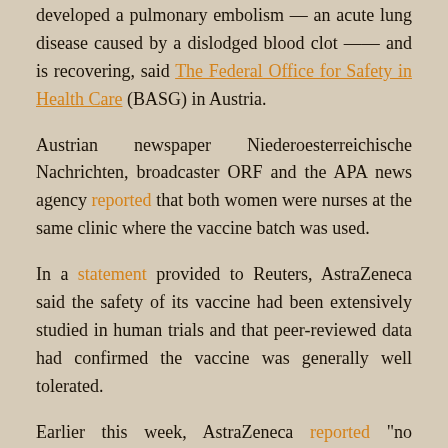developed a pulmonary embolism — an acute lung disease caused by a dislodged blood clot —— and is recovering, said The Federal Office for Safety in Health Care (BASG) in Austria.
Austrian newspaper Niederoesterreichische Nachrichten, broadcaster ORF and the APA news agency reported that both women were nurses at the same clinic where the vaccine batch was used.
In a statement provided to Reuters, AstraZeneca said the safety of its vaccine had been extensively studied in human trials and that peer-reviewed data had confirmed the vaccine was generally well tolerated.
Earlier this week, AstraZeneca reported "no confirmed serious adverse events associated with the vaccine" during trials and said it was working with Austria in its investigation.
Estonia, Latvia, Lithuania and Luxembourg have suspended all or part of their AstraZeneca vaccine roll-